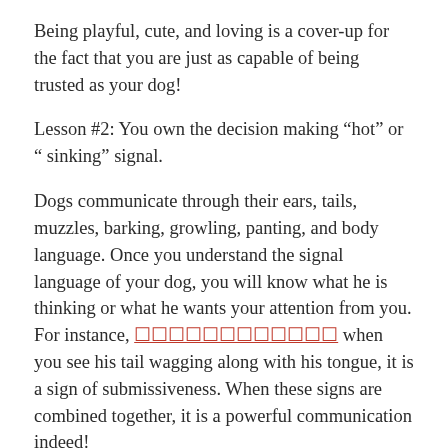Being playful, cute, and loving is a cover-up for the fact that you are just as capable of being trusted as your dog!
Lesson #2: You own the decision making “hot” or “ sinking” signal.
Dogs communicate through their ears, tails, muzzles, barking, growling, panting, and body language. Once you understand the signal language of your dog, you will know what he is thinking or what he wants your attention from you. For instance, ☐☐☐☐☐☐☐☐☐☐☐☐ when you see his tail wagging along with his tongue, it is a sign of submissiveness. When these signs are combined together, it is a powerful communication indeed!